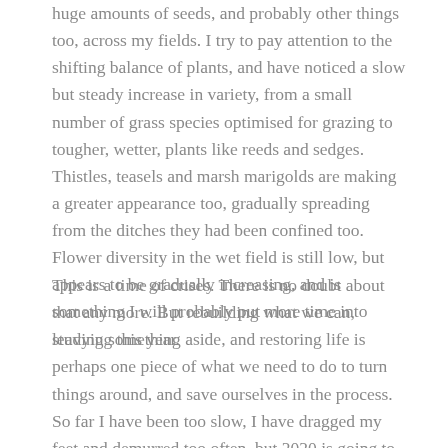huge amounts of seeds, and probably other things too, across my fields. I try to pay attention to the shifting balance of plants, and have noticed a slow but steady increase in variety, from a small number of grass species optimised for grazing to tougher, wetter, plants like reeds and sedges. Thistles, teasels and marsh marigolds are making a greater appearance too, gradually spreading from the ditches they had been confined too. Flower diversity in the wet field is still low, but appears to be gradually increasing, and is something I will probably put more time into studying this year.
This is a time of crises. There is no doubt about that any more. But rebuilding what we can, leaving something aside, and restoring life is perhaps one piece of what we need to do to turn things around, and save ourselves in the process. So far I have been too slow, I have dragged my feet and demurred too often, but 2020 is going to be a big year – I have some big plans, and I